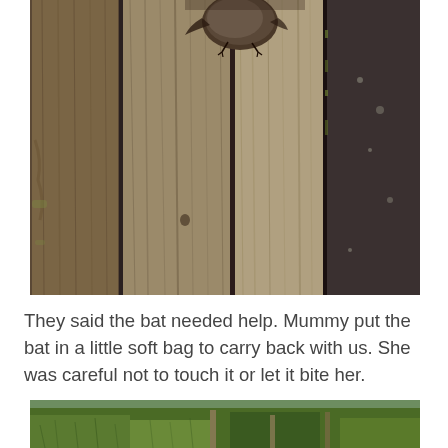[Figure (photo): Close-up photo of a small brown bat clinging to weathered wooden fence planks. The bat is visible at the top of the image with its wings folded, clinging to the grey-brown wood grain surface.]
They said the bat needed help. Mummy put the bat in a little soft bag to carry back with us. She was careful not to touch it or let it bite her.
[Figure (photo): Partial photo showing green grassy field with fence posts visible in the background.]